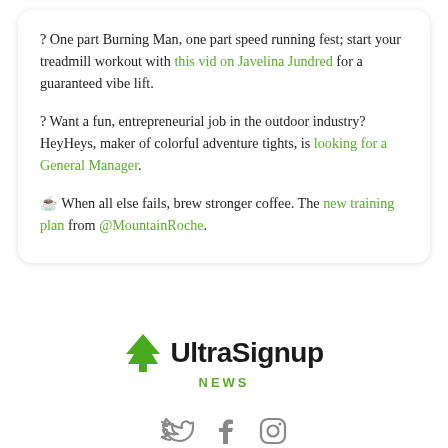? One part Burning Man, one part speed running fest; start your treadmill workout with this vid on Javelina Jundred for a guaranteed vibe lift.

? Want a fun, entrepreneurial job in the outdoor industry?  HeyHeys, maker of colorful adventure tights, is looking for a General Manager.

☕ When all else fails, brew stronger coffee. The new training plan from @MountainRoche.
[Figure (logo): UltraSignup News logo with green tree icon, bold black UltraSignup text, and green NEWS text below]